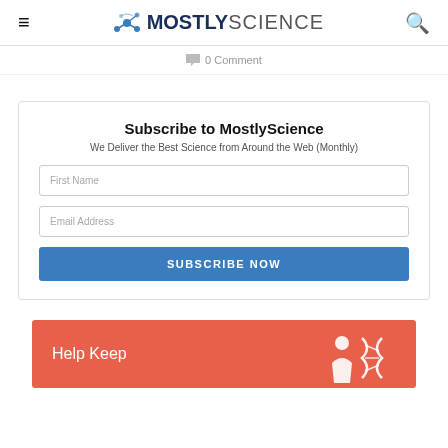MostlyScience
0 Comment
Subscribe to MostlyScience
We Deliver the Best Science from Around the Web (Monthly)
First Name
Email Address
SUBSCRIBE NOW
[Figure (infographic): Help Keep banner with coral/red-orange background and science molecule/DNA icon on the right, with text 'Help Keep']